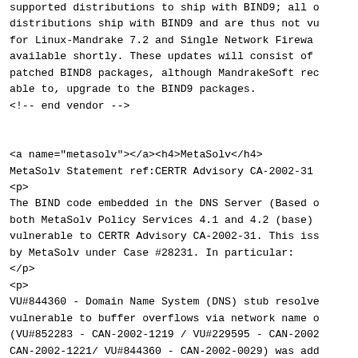supported distributions to ship with BIND9; all distributions ship with BIND9 and are thus not vu for Linux-Mandrake 7.2 and Single Network Firewa available shortly. These updates will consist of patched BIND8 packages, although MandrakeSoft rec able to, upgrade to the BIND9 packages.
<!-- end vendor -->

<a name="metasolv"></a><h4>MetaSolv</h4>
MetaSolv Statement ref:CERTR Advisory CA-2002-31
<p>
The BIND code embedded in the DNS Server (Based o both MetaSolv Policy Services 4.1 and 4.2 (base) vulnerable to CERTR Advisory CA-2002-31. This iss by MetaSolv under Case #28231. In particular:
</p>
<p>
VU#844360 - Domain Name System (DNS) stub resolve vulnerable to buffer overflows via network name o (VU#852283 - CAN-2002-1219 / VU#229595 - CAN-2002 CAN-2002-1221/ VU#844360 - CAN-2002-0029) was add Services 4.2 Service Pack 1 efix 1. The vulnerab by upgrading to Policy Services 4.2 Service Pack